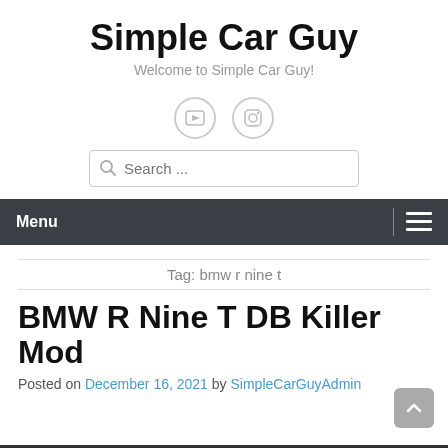Simple Car Guy
Welcome to Simple Car Guy!
[Figure (other): Social media icons: YouTube and Instagram circles]
[Figure (other): Search bar with magnifying glass icon and placeholder text 'Search ...']
Menu
Tag: bmw r nine t
BMW R Nine T DB Killer Mod
Posted on December 16, 2021 by SimpleCarGuyAdmin